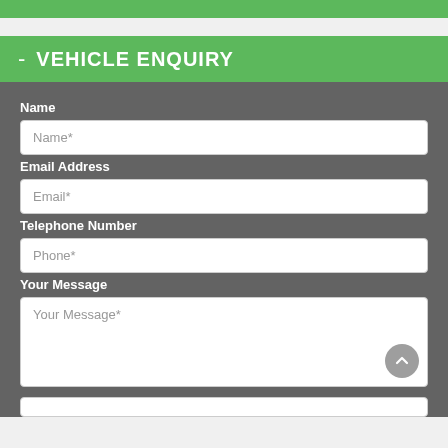VEHICLE ENQUIRY
Name
Name*
Email Address
Email*
Telephone Number
Phone*
Your Message
Your Message*